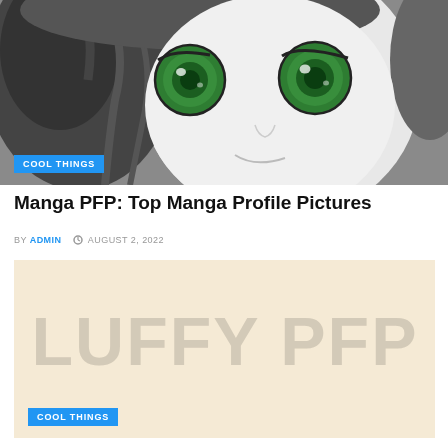[Figure (illustration): Close-up manga-style illustration of an anime character with large green eyes, white face, dark hair, subtle smile, rendered in black and white with green eye color accents.]
COOL THINGS
Manga PFP: Top Manga Profile Pictures
BY ADMIN  © AUGUST 2, 2022
[Figure (illustration): Beige/cream background image with large light gray watermark text reading 'LUFFY PFP' centered on the image.]
COOL THINGS